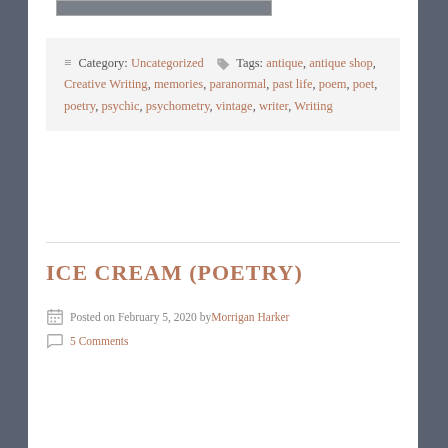[Figure (screenshot): Partial view of a dark grey navigation bar or image at the top of the page]
Category: Uncategorized  Tags: antique, antique shop, Creative Writing, memories, paranormal, past life, poem, poet, poetry, psychic, psychometry, vintage, writer, Writing
ICE CREAM (POETRY)
Posted on February 5, 2020 by Morrigan Harker
5 Comments